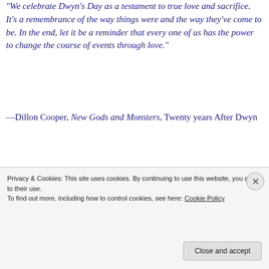"We celebrate Dwyn's Day as a testament to true love and sacrifice. It's a remembrance of the way things were and the way they've come to be. In the end, let it be a reminder that every one of us has the power to change the course of events through love."
—Dillon Cooper, New Gods and Monsters, Twenty years After Dwyn
The gray clouds scudded by overhead, blowing in quickly from the east.
Renn...
Privacy & Cookies: This site uses cookies. By continuing to use this website, you agree to their use.
To find out more, including how to control cookies, see here: Cookie Policy